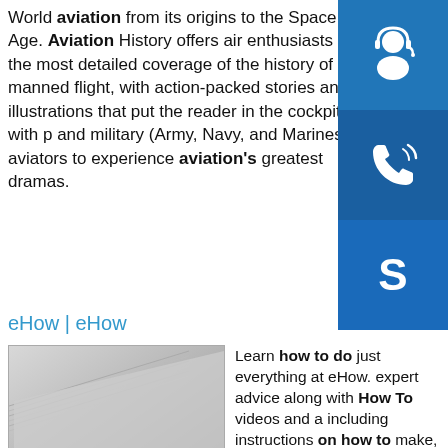World aviation from its origins to the Space Age. Aviation History offers air enthusiasts the most detailed coverage of the history of manned flight, with action-packed stories and illustrations that put the reader in the cockpit with p and military (Army, Navy, and Marines) aviators to experience aviation's greatest dramas.
[Figure (illustration): Blue support/headset icon on blue background]
[Figure (illustration): Blue phone icon on darker blue background]
[Figure (illustration): Skype logo icon on blue background]
eHow | eHow
[Figure (photo): Stack of gray metal or paper sheets photographed at an angle]
Learn how to do just everything at eHow. expert advice along with How To videos and a including instructions on how to make, cook, grow, or do almost anything.sp.info
Exchange RatesWorld currency exchange rates and currency exchange rate history. Up-to-the minute currency conversion, charts and more.sp.info Create - Idioms by The Free Dictionaryall men are created equal A